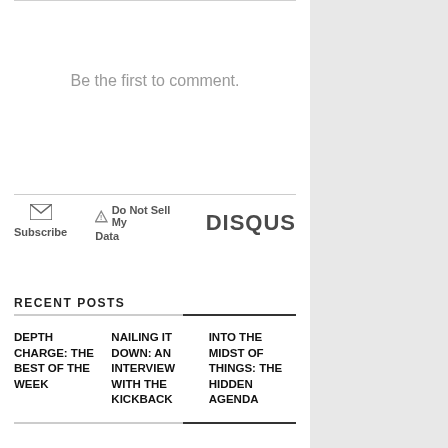Be the first to comment.
Subscribe  ⚠ Do Not Sell My Data  DISQUS
RECENT POSTS
DEPTH CHARGE: THE BEST OF THE WEEK
NAILING IT DOWN: AN INTERVIEW WITH THE KICKBACK
INTO THE MIDST OF THINGS: THE HIDDEN AGENDA